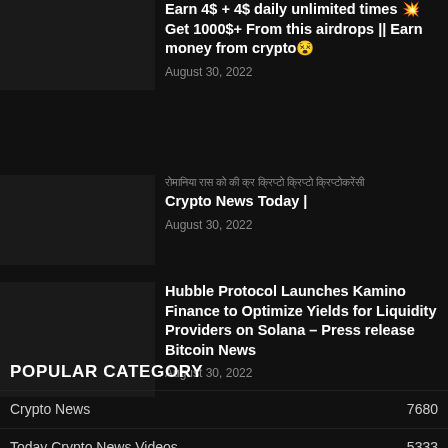Earn 4$ + 4$ daily unlimited times 💥 Get 1000$+ From this airdrops || Earn money from crypto😵
August 30, 2022
रोमानिया रास को की क्र क्रिप्टो क्रिप्टो क्रिप्टोकरेंसी Crypto News Today |
August 30, 2022
Hubble Protocol Launches Kamino Finance to Optimize Yields for Liquidity Providers on Solana – Press release Bitcoin News
August 30, 2022
POPULAR CATEGORY
Crypto News  7680
Today Crypto News Videos  5333